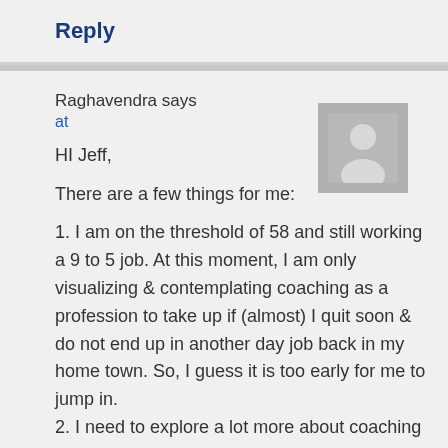Reply
Raghavendra says
at
[Figure (illustration): Default user avatar placeholder — grey square with a silhouette of a person]
HI Jeff,
There are a few things for me:
1. I am on the threshold of 58 and still working a 9 to 5 job. At this moment, I am only visualizing & contemplating coaching as a profession to take up if (almost) I quit soon & do not end up in another day job back in my home town. So, I guess it is too early for me to jump in.
2. I need to explore a lot more about coaching before I decide, it is a profession I pursue. So, now may not be the time for me to sign up.
3. I'm from India, where this thing has to develop